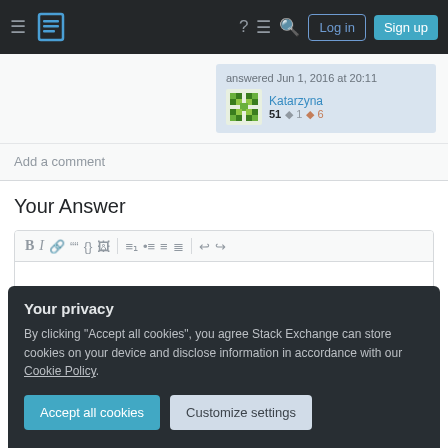Stack Exchange navigation bar with hamburger menu, logo, help, chat, search icons, Log in and Sign up buttons
answered Jun 1, 2016 at 20:11
Katarzyna 51 1 6
Add a comment
Your Answer
[Figure (screenshot): Rich text editor toolbar with formatting icons: Bold, Italic, link, blockquote, code, image, ordered list, unordered list, align options, undo, redo]
Your privacy
By clicking "Accept all cookies", you agree Stack Exchange can store cookies on your device and disclose information in accordance with our Cookie Policy.
Accept all cookies
Customize settings